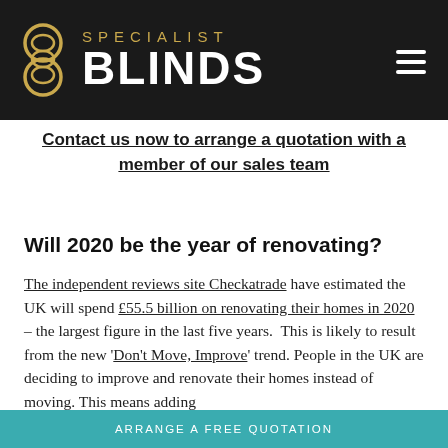SPECIALIST BLINDS
Contact us now to arrange a quotation with a member of our sales team
Will 2020 be the year of renovating?
The independent reviews site Checkatrade have estimated the UK will spend £55.5 billion on renovating their homes in 2020 – the largest figure in the last five years. This is likely to result from the new 'Don't Move, Improve' trend. People in the UK are deciding to improve and renovate their homes instead of moving. This means adding
ARRANGE A FREE QUOTATION